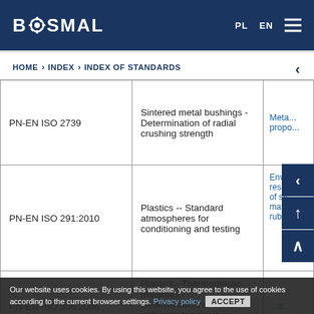BOSMAL | PL EN
HOME > INDEX > INDEX OF STANDARDS
| Standard | Description | Category |
| --- | --- | --- |
| PN-EN ISO 2739 | Sintered metal bushings - Determination of radial crushing strength | Meta... prope... |
| PN-EN ISO 291:2010 | Plastics -- Standard atmospheres for conditioning and testing | Enviro... resist... of sy... mate... rubbe... |
| PN-EN ISO 306:2006 | Plastics - Thermoplastic materials - Determination of Vicat softening temperature (VST) | ...at... |
Our website uses cookies. By using this website, you agree to the use of cookies according to the current browser settings. Privacy policy ACCEPT